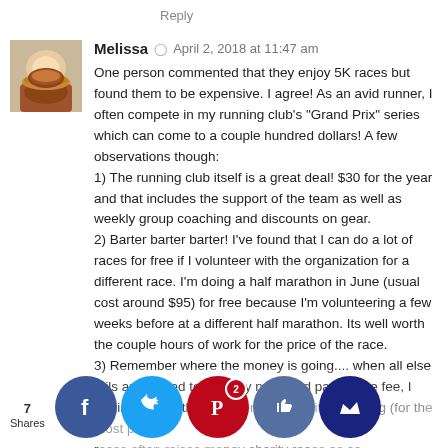Reply
Melissa  ©  April 2, 2018 at 11:47 am
One person commented that they enjoy 5K races but found them to be expensive. I agree! As an avid runner, I often compete in my running club's "Grand Prix" series which can come to a couple hundred dollars! A few observations though: 1) The running club itself is a great deal! $30 for the year and that includes the support of the team as well as weekly group coaching and discounts on gear. 2) Barter barter barter! I've found that I can do a lot of races for free if I volunteer with the organization for a different race. I'm doing a half marathon in June (usual cost around $95) for free because I'm volunteering a few weeks before at a different half marathon. Its well worth the couple hours of work for the price of the race. 3) Remember where the money is going.... when all else fails and I need to hold my nose and pay a race fee, I remind myself that is essentially charitable giving (for the most part), races often raises money charity races as can also be charitable giving for the community.
7 Shares